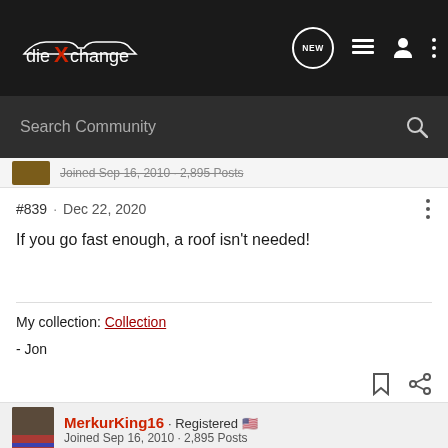diecastXchange
Search Community
Joined Sep 16, 2010 · 2,895 Posts
#839 · Dec 22, 2020
If you go fast enough, a roof isn't needed!
My collection: Collection
- Jon
MerkurKing16 · Registered
Joined Sep 16, 2010 · 2,895 Posts